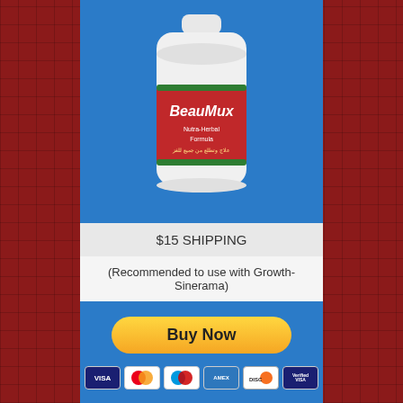[Figure (photo): A white plastic bottle with a red label reading 'BeauMux' with Arabic text below, placed on a blue background.]
$15 SHIPPING
(Recommended to use with Growth-Sinerama)
[Figure (infographic): Buy Now button with PayPal-style yellow rounded button and payment icons: VISA, Mastercard, Maestro, American Express, Discover, Verified by Visa]